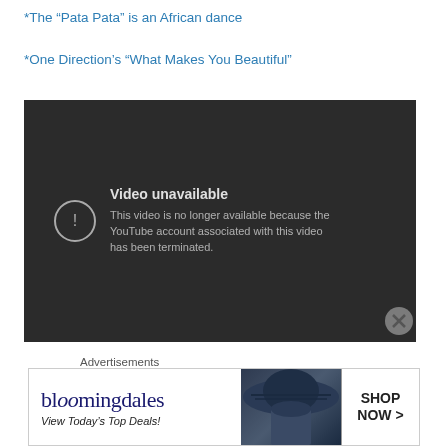*The “Pata Pata” is an African dance
*One Direction’s “What Makes You Beautiful”
[Figure (screenshot): YouTube video unavailable screen with dark background. Shows an exclamation icon in a circle with text: 'Video unavailable - This video is no longer available because the YouTube account associated with this video has been terminated.']
Advertisements
[Figure (other): Bloomingdale's advertisement banner with logo, 'View Today's Top Deals!' text, woman with large hat, and 'SHOP NOW >' button]